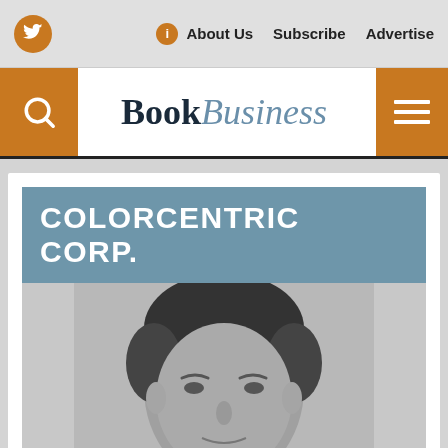Twitter | About Us | Subscribe | Advertise
BookBusiness
COLORCENTRIC CORP.
[Figure (photo): Black and white headshot photo of a man with dark hair, looking forward.]